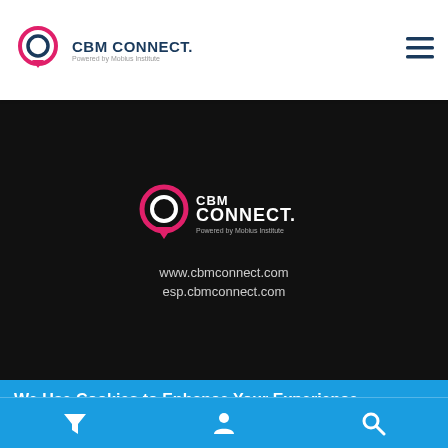CBM CONNECT. Powered by Mobius Institute
[Figure (logo): CBM Connect logo with pink speech bubble icon and dark text 'CBM CONNECT. Powered by Mobius Institute' on black background with website URLs www.cbmconnect.com and esp.cbmconnect.com]
We Use Cookies to Enhance Your Experience.
By using this site you agree to our use of cookies. You are free to manage this via your browser setting at any time. To learn more about how we use the cookies please see our cookies policy.
Accept & Close